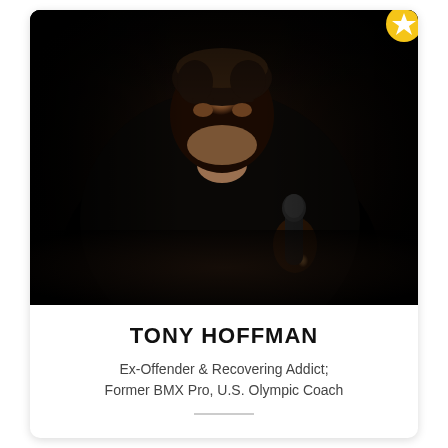[Figure (photo): Professional portrait photo of Tony Hoffman, a muscular man in a black shirt holding a microphone, photographed against a dark background in dramatic lighting]
TONY HOFFMAN
Ex-Offender & Recovering Addict; Former BMX Pro, U.S. Olympic Coach